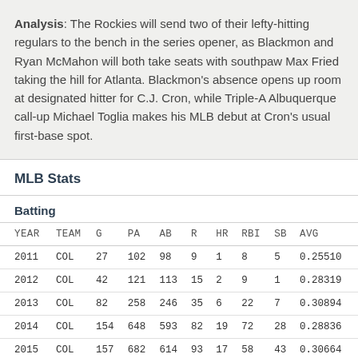Analysis: The Rockies will send two of their lefty-hitting regulars to the bench in the series opener, as Blackmon and Ryan McMahon will both take seats with southpaw Max Fried taking the hill for Atlanta. Blackmon's absence opens up room at designated hitter for C.J. Cron, while Triple-A Albuquerque call-up Michael Toglia makes his MLB debut at Cron's usual first-base spot.
MLB Stats
Batting
| YEAR | TEAM | G | PA | AB | R | HR | RBI | SB | AVG |
| --- | --- | --- | --- | --- | --- | --- | --- | --- | --- |
| 2011 | COL | 27 | 102 | 98 | 9 | 1 | 8 | 5 | 0.25510 |
| 2012 | COL | 42 | 121 | 113 | 15 | 2 | 9 | 1 | 0.28319 |
| 2013 | COL | 82 | 258 | 246 | 35 | 6 | 22 | 7 | 0.30894 |
| 2014 | COL | 154 | 648 | 593 | 82 | 19 | 72 | 28 | 0.28836 |
| 2015 | COL | 157 | 682 | 614 | 93 | 17 | 58 | 43 | 0.30664 |